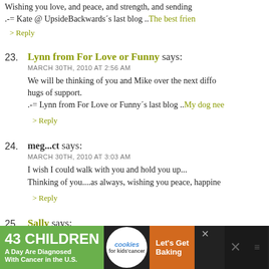Wishing you love, and peace, and strength, and sending
.-= Kate @ UpsideBackwards´s last blog ..The best frien
> Reply
23. Lynn from For Love or Funny says:
MARCH 30TH, 2010 AT 2:56 AM
We will be thinking of you and Mike over the next diffo
hugs of support.
.-= Lynn from For Love or Funny´s last blog ..My dog nee
> Reply
24. meg...ct says:
MARCH 30TH, 2010 AT 3:03 AM
I wish I could walk with you and hold you up...
Thinking of you....as always, wishing you peace, happine
> Reply
25. Sally says:
[Figure (infographic): Advertisement banner: '43 CHILDREN A Day Are Diagnosed With Cancer in the U.S.' with cookies for kids cancer logo and 'Let's Get Baking' on brown background]